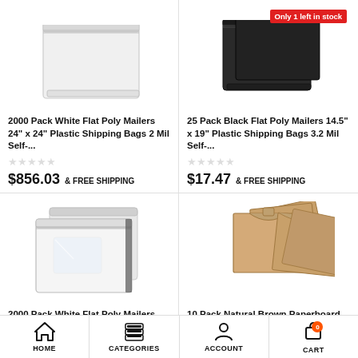[Figure (photo): White flat poly mailer bag partially visible at top]
[Figure (photo): Black flat poly mailer bags with Only 1 left in stock badge]
2000 Pack White Flat Poly Mailers 24" x 24" Plastic Shipping Bags 2 Mil Self-...
25 Pack Black Flat Poly Mailers 14.5" x 19" Plastic Shipping Bags 3.2 Mil Self-...
$856.03  & FREE SHIPPING
$17.47  & FREE SHIPPING
[Figure (photo): White flat poly mailer bags stacked]
[Figure (photo): Natural brown paperboard rigid mailers fanned out]
2000 Pack White Flat Poly Mailers 7.5" x 10.5" Plastic Shipping Bags 2 Mil Self-...
10 Pack Natural Brown Paperboard Rigid Mailers 12.25" x 9.75" Self-Seal...
HOME  CATEGORIES  ACCOUNT  CART